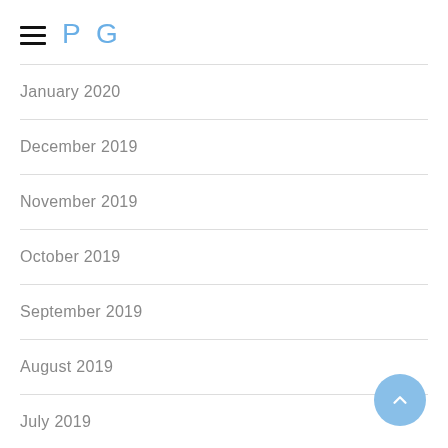PG
January 2020
December 2019
November 2019
October 2019
September 2019
August 2019
July 2019
June 2019